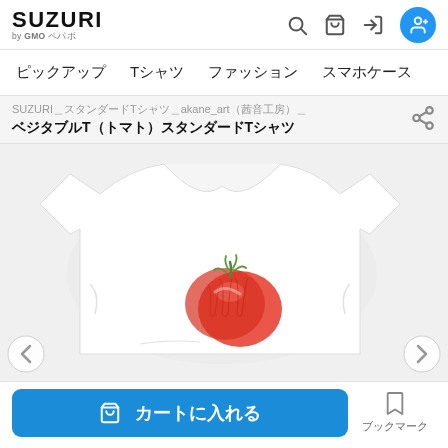[Figure (screenshot): SUZURI by GMO Pepabo e-commerce website header with logo, search icon, cart icon, login icon, and user account circle icon in blue]
SUZURI by GMO ペパボ
ピックアップ　Tシャツ　ファッション　スマホケース
SUZURI＿スタンダードTシャツ＿akane_art（茜音工房）＿
ベジタブルT（トマト）スタンダードTシャツ
[Figure (photo): White t-shirt laid flat with a red tomato illustration printed on the chest area, displayed on a light gray background]
🛒 カートに入れる
ブックマーク